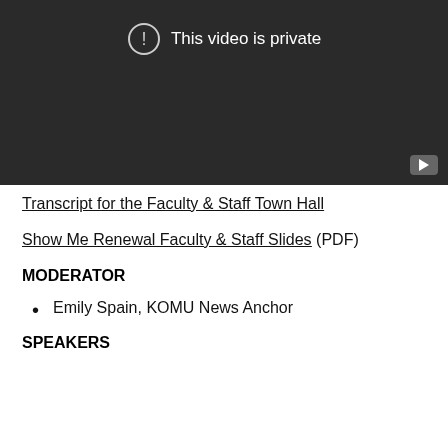[Figure (screenshot): YouTube video player showing 'This video is private' error message with exclamation icon on dark background, YouTube logo button in bottom right corner]
Transcript for the Faculty & Staff Town Hall
Show Me Renewal Faculty & Staff Slides (PDF)
MODERATOR
Emily Spain, KOMU News Anchor
SPEAKERS